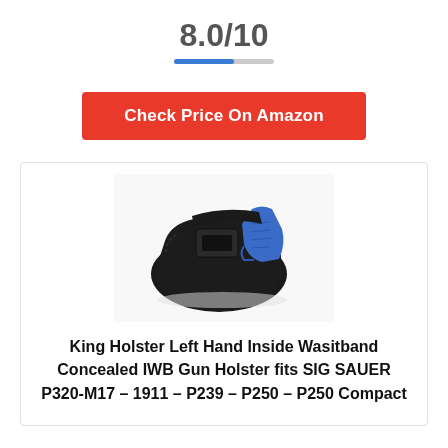8.0/10
Check Price On Amazon
[Figure (photo): Black neoprene IWB gun holster with a blue handgun inserted, shown on a white background]
King Holster Left Hand Inside Wasitband Concealed IWB Gun Holster fits SIG SAUER P320-M17 – 1911 – P239 – P250 – P250 Compact